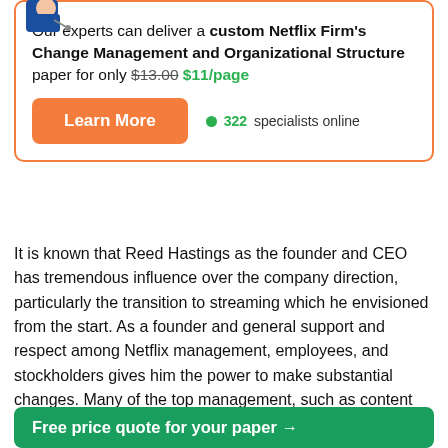[Figure (illustration): Partial illustration of a person in a blue jacket holding a pen, cropped at top]
Our experts can deliver a custom Netflix Firm's Change Management and Organizational Structure paper for only $13.00 $11/page
Learn More  322 specialists online
It is known that Reed Hastings as the founder and CEO has tremendous influence over the company direction, particularly the transition to streaming which he envisioned from the start. As a founder and general support and respect among Netflix management, employees, and stockholders gives him the power to make substantial changes. Many of the top management, such as content director Ted Sarandos have been with
Free price quote for your paper →